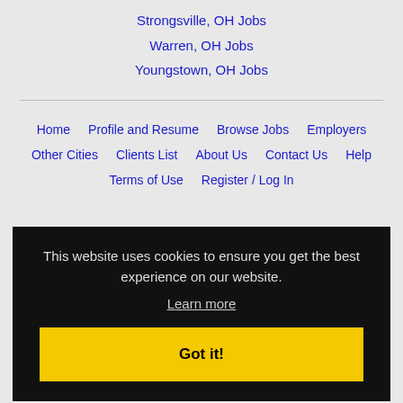Strongsville, OH Jobs
Warren, OH Jobs
Youngstown, OH Jobs
Home
Profile and Resume
Browse Jobs
Employers
Other Cities
Clients List
About Us
Contact Us
Help
Terms of Use
Register / Log In
This website uses cookies to ensure you get the best experience on our website.
Learn more
Got it!